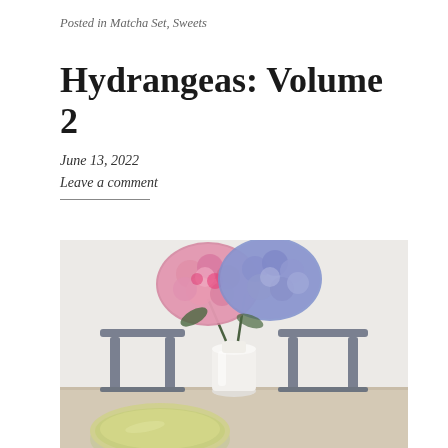Posted in Matcha Set, Sweets
Hydrangeas: Volume 2
June 13, 2022
Leave a comment
[Figure (photo): A white vase holding two large hydrangea blooms — one pink and one blue-purple — sitting on a light wooden table with dark grey chairs in the background against a white textured wall. In the foreground at the bottom is a green matcha bowl.]